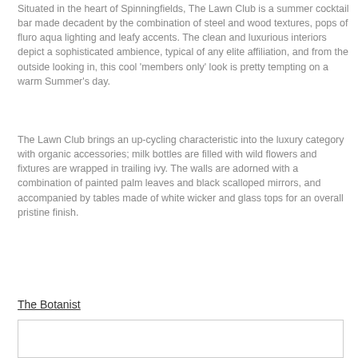Situated in the heart of Spinningfields, The Lawn Club is a summer cocktail bar made decadent by the combination of steel and wood textures, pops of fluro aqua lighting and leafy accents. The clean and luxurious interiors depict a sophisticated ambience, typical of any elite affiliation, and from the outside looking in, this cool 'members only' look is pretty tempting on a warm Summer's day.
The Lawn Club brings an up-cycling characteristic into the luxury category with organic accessories; milk bottles are filled with wild flowers and fixtures are wrapped in trailing ivy. The walls are adorned with a combination of painted palm leaves and black scalloped mirrors, and accompanied by tables made of white wicker and glass tops for an overall pristine finish.
The Botanist
[Figure (other): An image placeholder box at the bottom of the page]